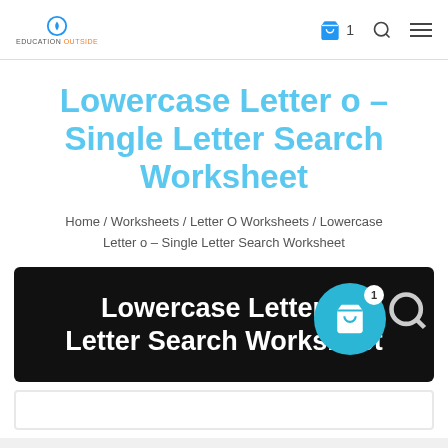Education Outside — navigation header with logo, cart (1), search, and menu icons
Lowercase Letter o – Single Letter Search Worksheet
Home / Worksheets / Letter O Worksheets / Lowercase Letter o – Single Letter Search Worksheet
[Figure (screenshot): Black banner with white bold text reading 'Lowercase Letter o Letter Search Worksheet', with a teal circular cart overlay icon showing badge '1' and a search icon magnifier]